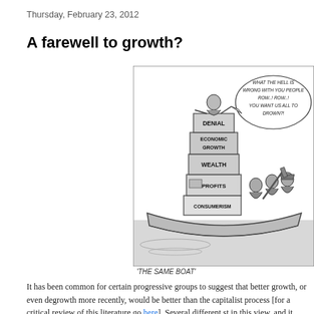Thursday, February 23, 2012
A farewell to growth?
[Figure (illustration): Political cartoon titled 'THE SAME BOAT' showing a figure standing atop stacked boxes labeled DENIAL, ECONOMIC GROWTH, WEALTH, PROFITS, CONSUMERISM in a boat, shouting 'WHAT THE HELL IS WRONG WITH YOU PEOPLE ROW..! ROW..! YOU WANT US ALL TO DROWN?!' at rowers seated behind.]
'THE SAME BOAT'
It has been common for certain progressive groups to suggest that better growth, or even degrowth more recently, would be better than the capitalist process [for a critical review of this literature go here]. Several different strands in this view, and it would probably be worthwhile to disentangle them all.